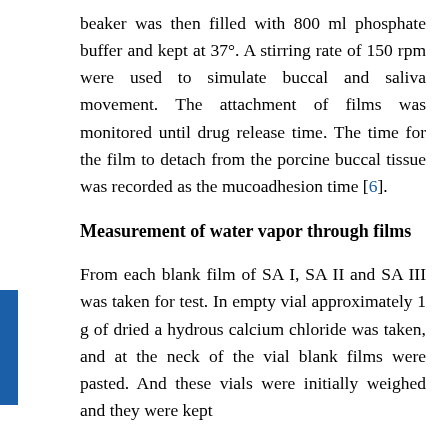beaker was then filled with 800 ml phosphate buffer and kept at 37°. A stirring rate of 150 rpm were used to simulate buccal and saliva movement. The attachment of films was monitored until drug release time. The time for the film to detach from the porcine buccal tissue was recorded as the mucoadhesion time [6].
Measurement of water vapor through films
From each blank film of SA I, SA II and SA III was taken for test. In empty vial approximately 1 g of dried a hydrous calcium chloride was taken, and at the neck of the vial blank films were pasted. And these vials were initially weighed and they were kept